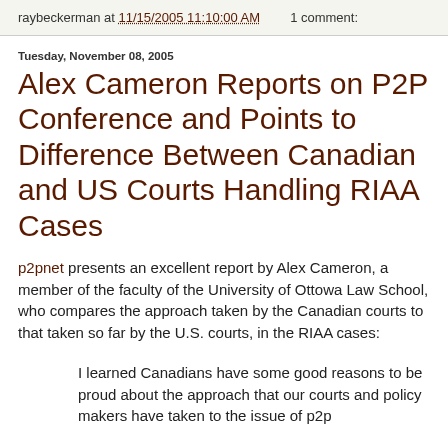raybeckerman at 11/15/2005 11:10:00 AM   1 comment:
Tuesday, November 08, 2005
Alex Cameron Reports on P2P Conference and Points to Difference Between Canadian and US Courts Handling RIAA Cases
p2pnet presents an excellent report by Alex Cameron, a member of the faculty of the University of Ottowa Law School, who compares the approach taken by the Canadian courts to that taken so far by the U.S. courts, in the RIAA cases:
I learned Canadians have some good reasons to be proud about the approach that our courts and policy makers have taken to the issue of p2p